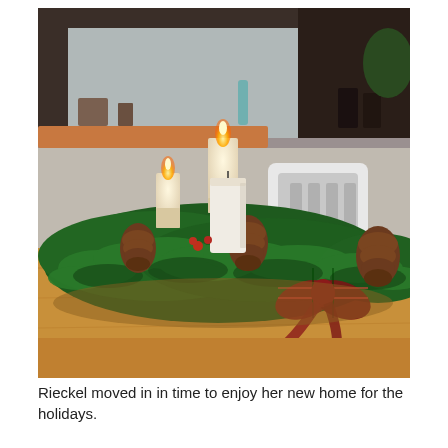[Figure (photo): A Christmas centerpiece arrangement on a wooden dining table featuring evergreen branches, pine cones, white pillar candles (some lit), and a red plaid tartan ribbon. In the background is a white chair and a kitchen area with dark wood cabinetry.]
Rieckel moved in in time to enjoy her new home for the holidays.